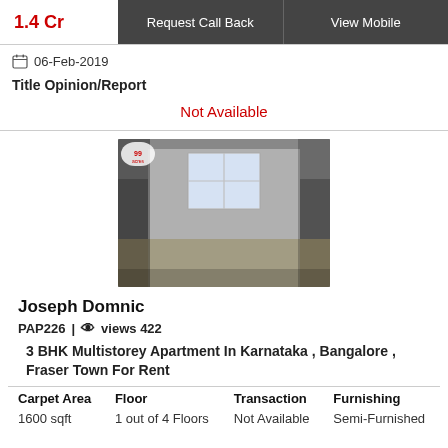1.4 Cr
Request Call Back
View Mobile
06-Feb-2019
Title Opinion/Report
Not Available
[Figure (photo): Interior photo of an empty room in a multistorey apartment, showing a large window with light, reflective tiled floor, and bare walls. A small logo watermark is visible in the top-left corner.]
Joseph Domnic
PAP226 | 👁 views 422
3 BHK Multistorey Apartment In Karnataka , Bangalore , Fraser Town For Rent
| Carpet Area | Floor | Transaction | Furnishing |
| --- | --- | --- | --- |
| 1600 sqft | 1 out of 4 Floors | Not Available | Semi-Furnished |